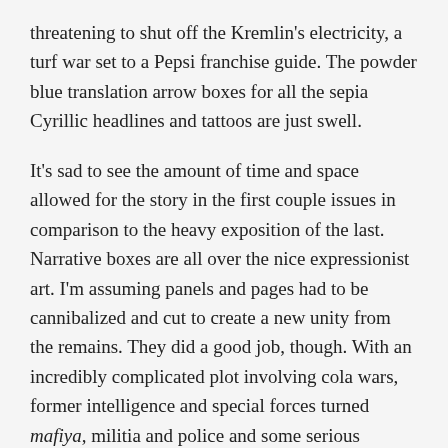threatening to shut off the Kremlin's electricity, a turf war set to a Pepsi franchise guide. The powder blue translation arrow boxes for all the sepia Cyrillic headlines and tattoos are just swell.
It's sad to see the amount of time and space allowed for the story in the first couple issues in comparison to the heavy exposition of the last. Narrative boxes are all over the nice expressionist art. I'm assuming panels and pages had to be cannibalized and cut to create a new unity from the remains. They did a good job, though. With an incredibly complicated plot involving cola wars, former intelligence and special forces turned mafiya, militia and police and some serious political conspiracy going on, they managed to cut out three issues. Lewis and Leon clearly loved what they were doing. I'm only seeing The Winter Men in shards, but what I have is beautifully executed and so well researched with great art and nice writing and delicate coloring, and it's